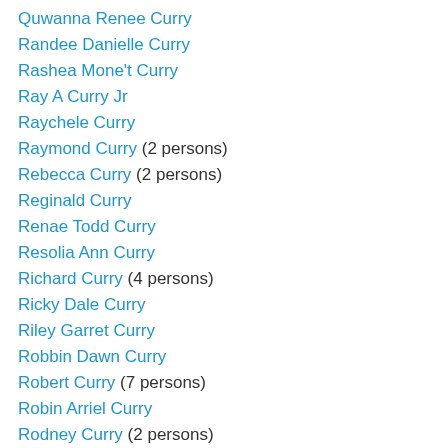Quwanna Renee Curry
Randee Danielle Curry
Rashea Mone't Curry
Ray A Curry Jr
Raychele Curry
Raymond Curry (2 persons)
Rebecca Curry (2 persons)
Reginald Curry
Renae Todd Curry
Resolia Ann Curry
Richard Curry (4 persons)
Ricky Dale Curry
Riley Garret Curry
Robbin Dawn Curry
Robert Curry (7 persons)
Robin Arriel Curry
Rodney Curry (2 persons)
Romona K Curry